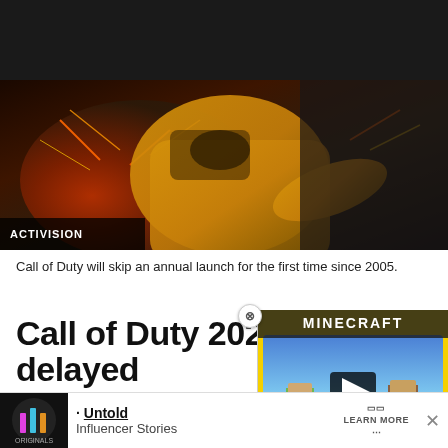[Figure (photo): Activision game screenshot showing a soldier in yellow jacket with sparks flying, labeled ACTIVISION in bottom-left corner]
Call of Duty will skip an annual launch for the first time since 2005.
Call of Duty 2023 delayed
Call of Duty 2023 – expected to – has been pushed back in its development until 2024.
[Figure (screenshot): Minecraft advertisement overlay showing Minecraft logo, play button, and game scenery with MINECRAFT! label]
[Figure (screenshot): Bottom advertisement banner for Originals featuring Untold Influencer Stories with Learn More button]